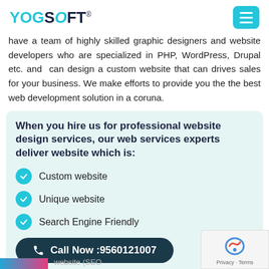YOGSOFT
have a team of highly skilled graphic designers and website developers who are specialized in PHP, WordPress, Drupal etc. and  can design a custom website that can drives sales for your business. We make efforts to provide you the the best web development solution in a coruna.
When you hire us for professional website design services, our web services experts deliver website which is:
Custom website
Unique website
Search Engine Friendly
Call Now :9560121007